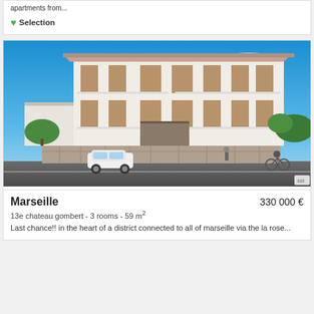apartments from...
♥ Selection
[Figure (photo): Architectural rendering of a modern white residential apartment building with balconies, wooden accents, and plants. Blue sky background. Street view shows a white car parked and a cyclist passing by.]
Marseille
330 000 €
13e chateau gombert - 3 rooms - 59 m²
Last chance!! in the heart of a district connected to all of marseille via the la rose...